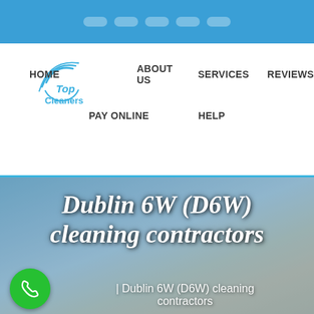Navigation dots / top bar
[Figure (logo): Top Cleaners logo with circular arc swoosh above text 'Top Cleaners' in blue]
HOME  ABOUT US  SERVICES  REVIEWS  PAY ONLINE  HELP
Dublin 6W (D6W) cleaning contractors
Home | Dublin 6W (D6W) cleaning contractors